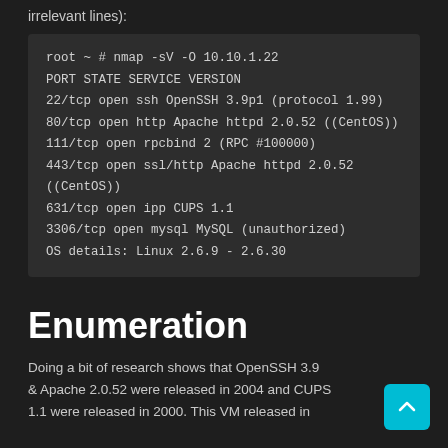irrelevant lines):
[Figure (screenshot): Terminal output showing nmap -sV -O 10.10.1.22 scan results with open ports: 22/tcp ssh OpenSSH 3.9p1, 80/tcp http Apache httpd 2.0.52, 111/tcp rpcbind 2, 443/tcp ssl/http Apache httpd 2.0.52, 631/tcp ipp CUPS 1.1, 3306/tcp mysql MySQL unauthorized; OS details Linux 2.6.9-2.6.30]
Enumeration
Doing a bit of research shows that OpenSSH 3.9 & Apache 2.0.52 were released in 2004 and CUPS 1.1 were released in 2000. This VM released in